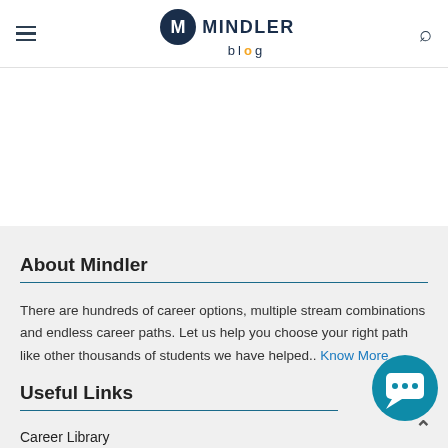Mindler Blog
About Mindler
There are hundreds of career options, multiple stream combinations and endless career paths. Let us help you choose your right path like other thousands of students we have helped.. Know More
Useful Links
Career Library